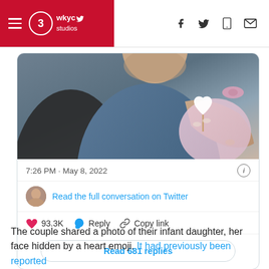WKYC Studios — navigation header with hamburger menu, logo, and social icons (f, Twitter bird, mobile, envelope)
[Figure (photo): A couple with a newborn infant. A man in a denim jacket leans toward a woman's arm holding a baby wrapped in pink. The baby holds a small white heart prop on a stick. The woman wears a ring and has manicured nails.]
7:26 PM · May 8, 2022
Read the full conversation on Twitter
93.3K   Reply   Copy link
Read 681 replies
The couple shared a photo of their infant daughter, her face hidden by a heart emoji. It had previously been reported